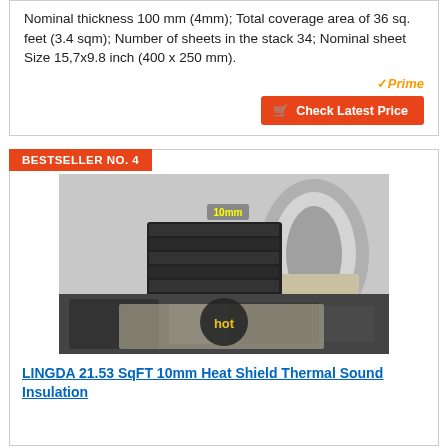Nominal thickness 100 mm (4mm); Total coverage area of 36 sq. feet (3.4 sqm); Number of sheets in the stack 34; Nominal sheet Size 15,7x9.8 inch (400 x 250 mm).
[Figure (logo): Amazon Prime checkmark logo with 'Prime' text in orange italic]
Check Latest Price
BESTSELLER NO. 4
[Figure (photo): Product photo showing LINGDA heat shield thermal sound insulation material — rolled silver foil, cross-section showing 10mm thickness, and installed view in a car engine bay with 'hot' label overlay]
LINGDA 21.53 SqFT 10mm Heat Shield Thermal Sound Insulation